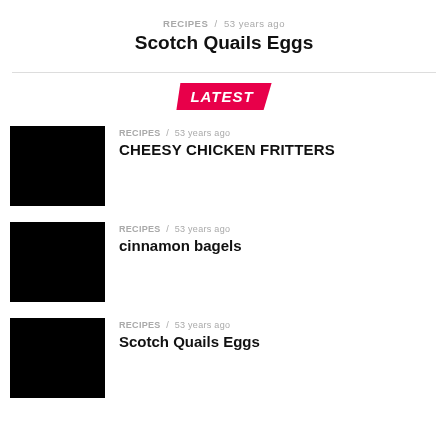RECIPES / 53 years ago
Scotch Quails Eggs
LATEST
[Figure (photo): Black thumbnail image for Cheesy Chicken Fritters]
RECIPES / 53 years ago
CHEESY CHICKEN FRITTERS
[Figure (photo): Black thumbnail image for cinnamon bagels]
RECIPES / 53 years ago
cinnamon bagels
[Figure (photo): Black thumbnail image for Scotch Quails Eggs]
RECIPES / 53 years ago
Scotch Quails Eggs